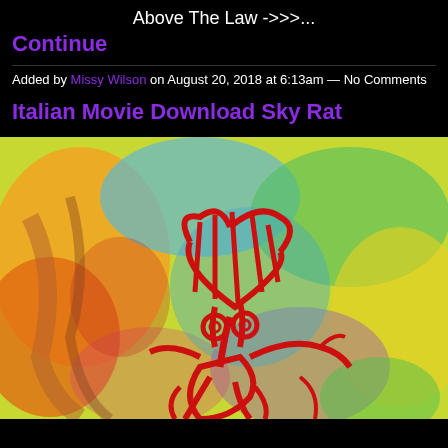Above The Law ->>>...
Continue
Added by Missy Wilson on August 20, 2018 at 6:13am — No Comments
Italian Movie Download Sky Rat
[Figure (illustration): Colorful crayon or pastel drawing of a stylized rooster/bird creature with a large red heart-shaped head with stripes, big round eyes, and expressive red lines on a vivid multicolor background of yellows, greens, blues, oranges, and purples.]